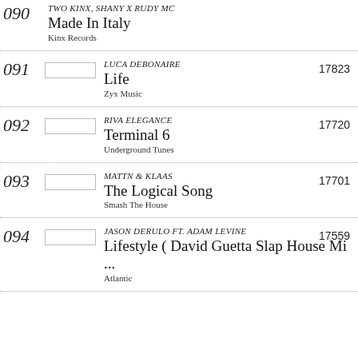090 - TWO KINX, SHANY X RUDY MC - Made In Italy - Kinx Records
091 - LUCA DEBONAIRE - Life - Zyx Music - 17823
092 - RIVA ELEGANCE - Terminal 6 - Underground Tunes - 17720
093 - MATTN & KLAAS - The Logical Song - Smash The House - 17701
094 - JASON DERULO FT. ADAM LEVINE - Lifestyle ( David Guetta Slap House Mi ... - Atlantic - 17559